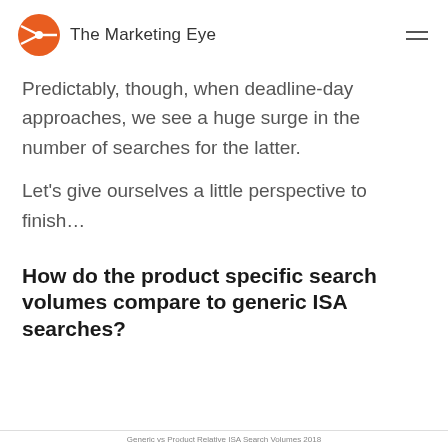The Marketing Eye
Predictably, though, when deadline-day approaches, we see a huge surge in the number of searches for the latter.
Let's give ourselves a little perspective to finish…
How do the product specific search volumes compare to generic ISA searches?
Generic vs Product Relative ISA Search Volumes 2018